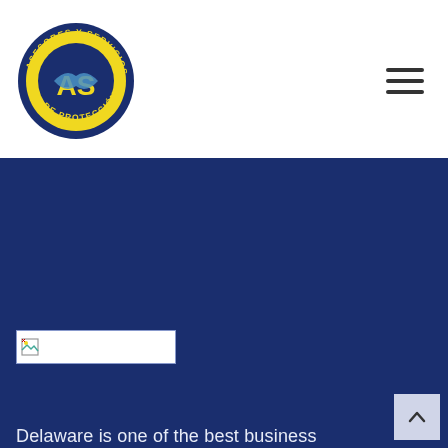[Figure (logo): AS Asesores y Servicios de Protección circular logo with handshake and yellow/blue design]
[Figure (other): Hamburger menu icon (three horizontal lines)]
[Figure (other): Broken image placeholder rectangle on dark blue background]
Delaware is one of the best business consulting firms. We help global leaders with their organization's most critical issues & opportunities.